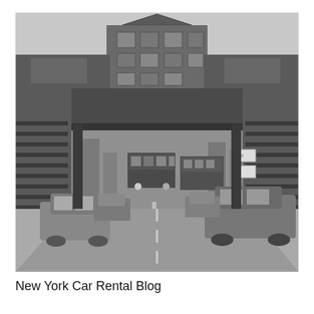[Figure (photo): Black and white photograph of an urban street scene, likely from the 1970s. An elevated railway station structure dominates the center of the image, with a two-story wooden building on top featuring multiple windows and a triangular pediment. Steel support beams extend to both sides. Below the elevated structure, two buses are visible on the road along with several vintage cars including large American sedans. The street recedes into the distance under the overpass. Stairways are visible on both sides of the elevated structure.]
New York Car Rental Blog